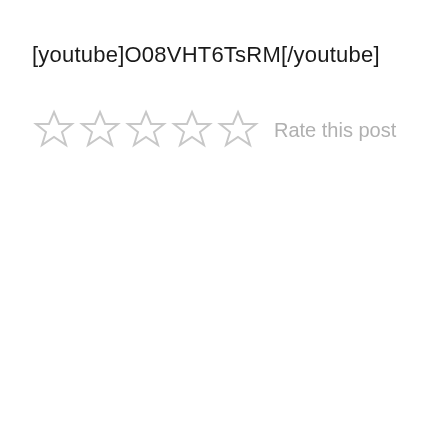[youtube]O08VHT6TsRM[/youtube]
☆ ☆ ☆ ☆ ☆  Rate this post